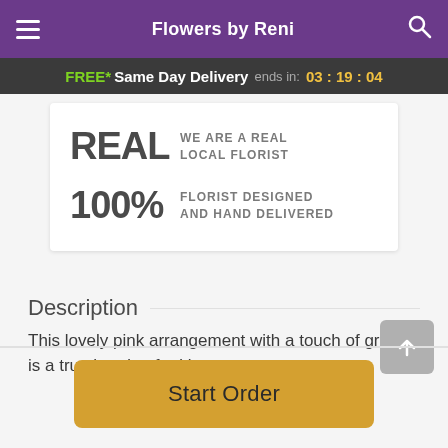Flowers by Reni
FREE* Same Day Delivery ends in: 03 : 19 : 04
REAL WE ARE A REAL LOCAL FLORIST
100% FLORIST DESIGNED AND HAND DELIVERED
Description
This lovely pink arrangement with a touch of green is a true handcrafted beauty.
Start Order